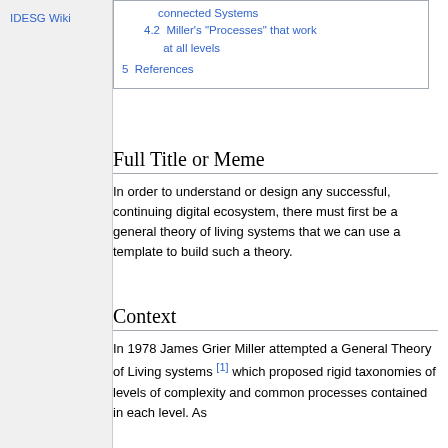IDESG Wiki
connected Systems
4.2  Miller's "Processes" that work at all levels
5  References
Full Title or Meme
In order to understand or design any successful, continuing digital ecosystem, there must first be a general theory of living systems that we can use a template to build such a theory.
Context
In 1978 James Grier Miller attempted a General Theory of Living systems [1] which proposed rigid taxonomies of levels of complexity and common processes contained in each level. As